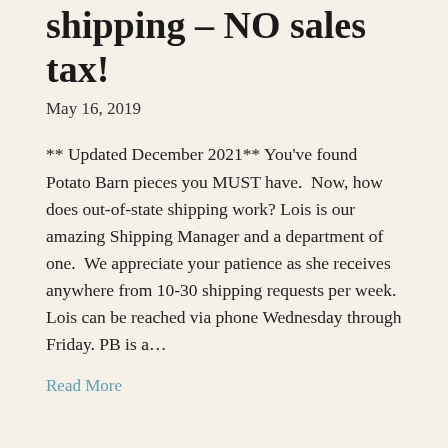shipping – NO sales tax!
May 16, 2019
** Updated December 2021** You've found Potato Barn pieces you MUST have.  Now, how does out-of-state shipping work? Lois is our amazing Shipping Manager and a department of one.  We appreciate your patience as she receives anywhere from 10-30 shipping requests per week. Lois can be reached via phone Wednesday through Friday. PB is a…
Read More
PB Mesa Gateway's Grand Opening